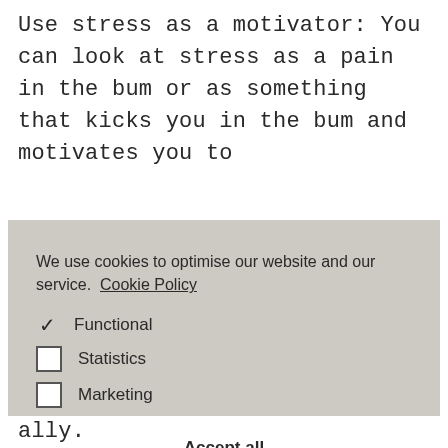Use stress as a motivator: You can look at stress as a pain in the bum or as something that kicks you in the bum and motivates you to
We use cookies to optimise our website and our service.  Cookie Policy
✓ Functional
☐ Statistics
☐ Marketing
Accept all
Save preferences
ally.